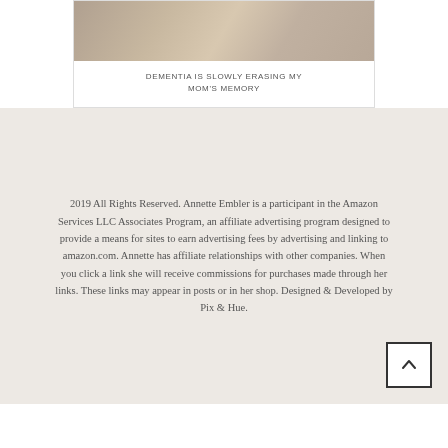[Figure (photo): Close-up photo of elderly hands resting on a surface, partially visible at top of page.]
DEMENTIA IS SLOWLY ERASING MY MOM'S MEMORY
2019 All Rights Reserved. Annette Embler is a participant in the Amazon Services LLC Associates Program, an affiliate advertising program designed to provide a means for sites to earn advertising fees by advertising and linking to amazon.com. Annette has affiliate relationships with other companies. When you click a link she will receive commissions for purchases made through her links. These links may appear in posts or in her shop. Designed & Developed by Pix & Hue.